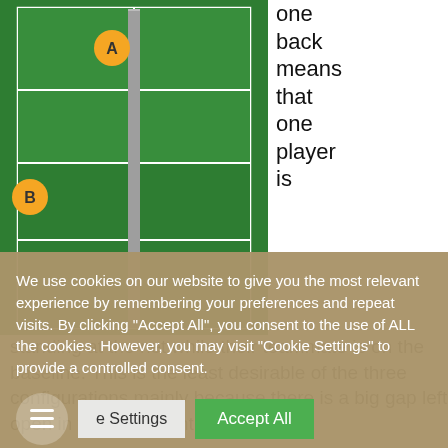[Figure (illustration): A top-down view of a tennis/pickleball court (green with white lines and gray center net) showing two player markers: player A (orange circle) near the net on the left side, and player B (orange circle) on the baseline left side.]
one back means that one player is standing at the net while their teammate is on the baseline. This is the least desirable of the three configurations mainly because there is a big gap left open in the court right down the
We use cookies on our website to give you the most relevant experience by remembering your preferences and repeat visits. By clicking "Accept All", you consent to the use of ALL the cookies. However, you may visit "Cookie Settings" to provide a controlled consent.